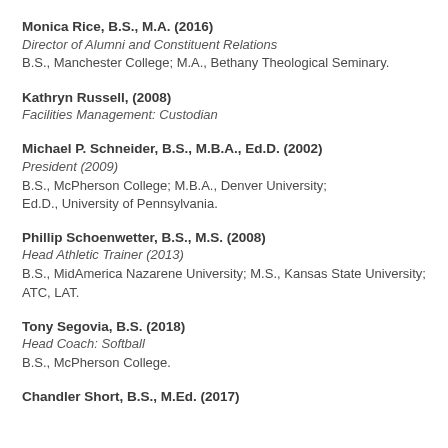Monica Rice, B.S., M.A. (2016)
Director of Alumni and Constituent Relations
B.S., Manchester College; M.A., Bethany Theological Seminary.
Kathryn Russell, (2008)
Facilities Management: Custodian
Michael P. Schneider, B.S., M.B.A., Ed.D. (2002)
President (2009)
B.S., McPherson College; M.B.A., Denver University; Ed.D., University of Pennsylvania.
Phillip Schoenwetter, B.S., M.S. (2008)
Head Athletic Trainer (2013)
B.S., MidAmerica Nazarene University; M.S., Kansas State University; ATC, LAT.
Tony Segovia, B.S. (2018)
Head Coach: Softball
B.S., McPherson College.
Chandler Short, B.S., M.Ed. (2017)